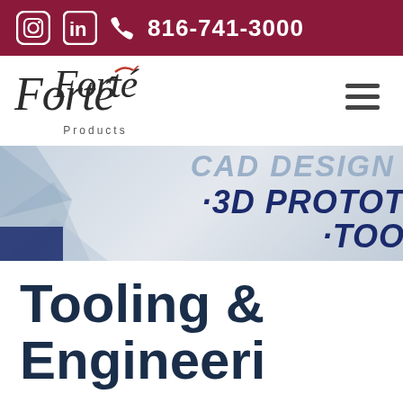816-741-3000
[Figure (logo): Forte Products logo with italic serif text and accent mark]
[Figure (screenshot): Website banner showing partial text: CAD DESIGN, 3D PROTOT[YPING], TOO[LING] in dark blue bold italic on light geometric background]
Tooling & Engineering